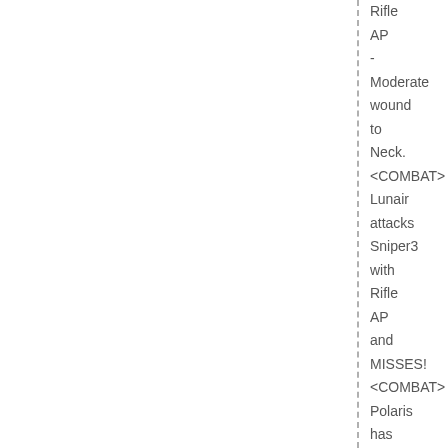Rifle AP - Moderate wound to Neck. <COMBAT> Lunair attacks Sniper3 with Rifle AP and MISSES! <COMBAT> Polaris has started a new turn. Pose and